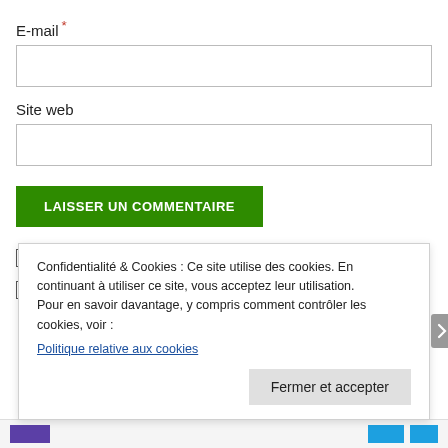E-mail *
Site web
LAISSER UN COMMENTAIRE
Avertissez-moi par e-mail des nouveaux commentaires.
Avertissez-moi par e-mail des nouveaux articles.
Confidentialité & Cookies : Ce site utilise des cookies. En continuant à utiliser ce site, vous acceptez leur utilisation. Pour en savoir davantage, y compris comment contrôler les cookies, voir : Politique relative aux cookies
Fermer et accepter